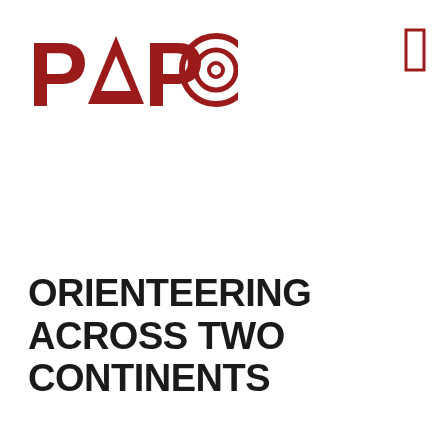[Figure (logo): PAPO logo in dark red/crimson: stylized letters P, A, P followed by a target/circle icon (concentric circles)]
[Figure (other): Small dark red outlined rectangle in the upper right corner]
ORIENTEERING ACROSS TWO CONTINENTS